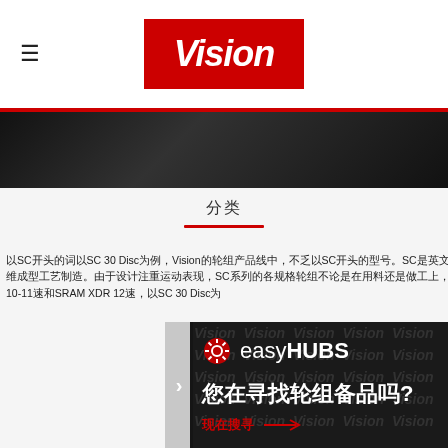Vision
[Figure (photo): Dark hero banner with bicycle components in background]
分类
以SC开头的词以SC 30 Disc为例，Vision的轮组产品线中，不乏以SC开头的型号。SC是英文Single Carbon的缩写，顾名思义，SC系列均采用单片碳纤维成型工艺制造。由于设计注重运动表现，SC系列的各规格轮组不论是在用料还是做工上，都不输给市面上同价位区间竞品。飞轮座可选配Shimano 10-11速和SRAM XDR 12速，以SC 30 Disc为
[Figure (infographic): easyHUBS promotional banner with dark background, Vision watermark pattern, gear icon, and Chinese text '您在寻找轮组备品吗?' with '现在搜寻 ->' link]